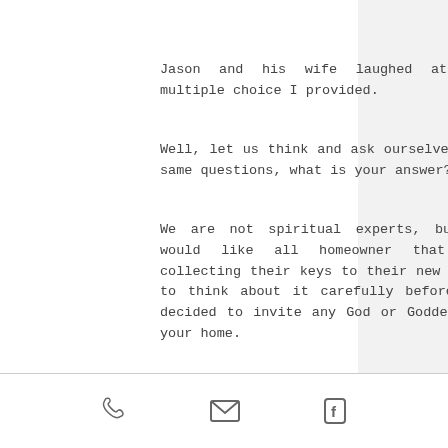Jason and his wife laughed at the multiple choice I provided.
Well, let us think and ask ourselves the same questions, what is your answer?
We are not spiritual experts, but we would like all homeowner that are collecting their keys to their new house to think about it carefully before you decided to invite any God or Goddess to your home.
[phone icon] [email icon] [facebook icon]